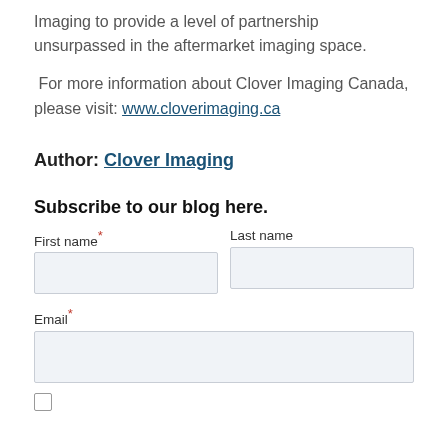Imaging to provide a level of partnership unsurpassed in the aftermarket imaging space.
For more information about Clover Imaging Canada, please visit: www.cloverimaging.ca
Author: Clover Imaging
Subscribe to our blog here.
First name* Last name
Email*